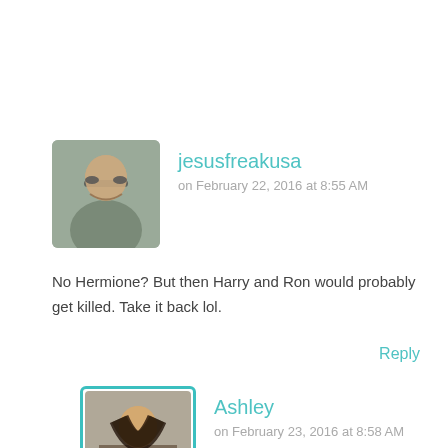[Figure (photo): Avatar photo of jesusfreakusa, a person wearing glasses, smiling]
jesusfreakusa
on February 22, 2016 at 8:55 AM
No Hermione? But then Harry and Ron would probably get killed. Take it back lol.
Reply
[Figure (photo): Avatar photo of Ashley, a young woman with long dark hair]
Ashley
on February 23, 2016 at 8:58 AM
HAHAH! Maybe they would, but maybe it would have made them try harder. 😛
Reply